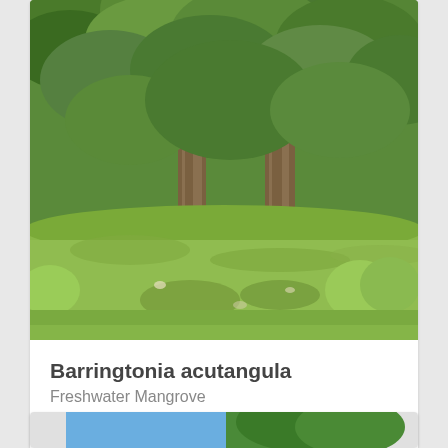[Figure (photo): Photograph of Barringtonia acutangula trees in a field with green grass and dense leafy canopy]
Barringtonia acutangula
Freshwater Mangrove
MORE IMAGES
[Figure (photo): Partial view of another plant specimen card showing blue sky and green tree canopy]